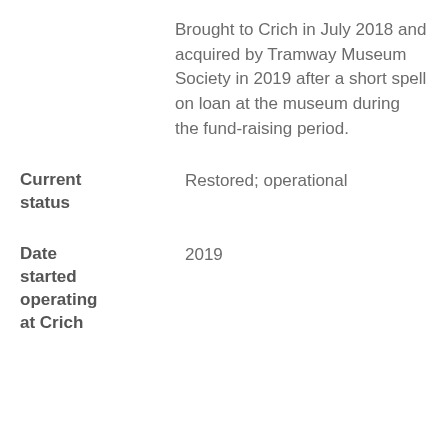Brought to Crich in July 2018 and acquired by Tramway Museum Society in 2019 after a short spell on loan at the museum during the fund-raising period.
| Current status | Restored; operational |
| Date started operating at Crich | 2019 |